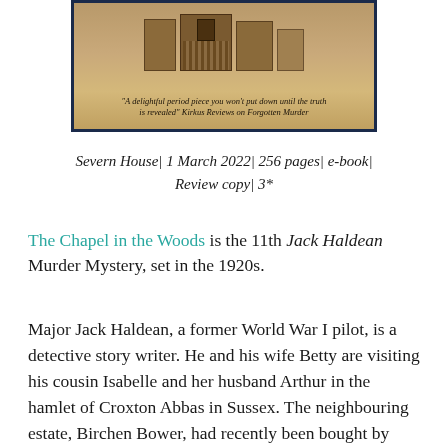[Figure (illustration): Book cover image with navy border and tan/sandstone background. Contains a quote: "A delightful period piece you won't put down until the truth is revealed" Kirkus Reviews on Forgotten Murder]
Severn House| 1 March 2022| 256 pages| e-book| Review copy| 3*
The Chapel in the Woods is the 11th Jack Haldean Murder Mystery, set in the 1920s.
Major Jack Haldean, a former World War I pilot, is a detective story writer. He and his wife Betty are visiting his cousin Isabelle and her husband Arthur in the hamlet of Croxton Abbas in Sussex. The neighbouring estate, Birchen Bower, had recently been bought by Canadian Tom Jago and his wife Rosalind. A